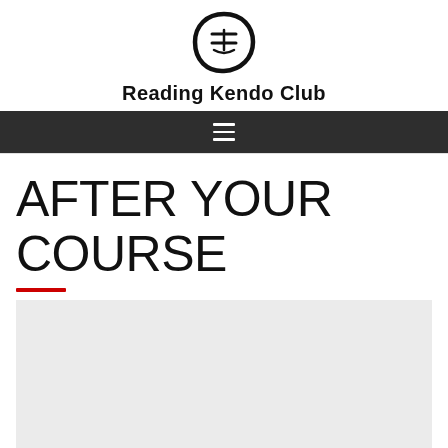[Figure (logo): Reading Kendo Club circular logo with Japanese brushstroke character inside a circle]
Reading Kendo Club
[Figure (other): Dark navigation bar with hamburger menu icon]
AFTER YOUR COURSE
[Figure (other): Light grey content area block below the red rule]